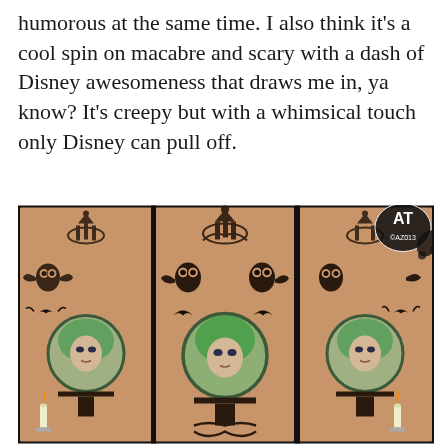humorous at the same time. I also think it's a cool spin on macabre and scary with a dash of Disney awesomeness that draws me in, ya know? It's creepy but with a whimsical touch only Disney can pull off.
[Figure (photo): Three views of a tattoo on an arm showing a Haunted Mansion-inspired design featuring Madame Leota in a crystal ball with green glowing hair, surrounded by gothic ornamental designs, owls, bats, and candles. A watermark logo is visible in the top right corner.]